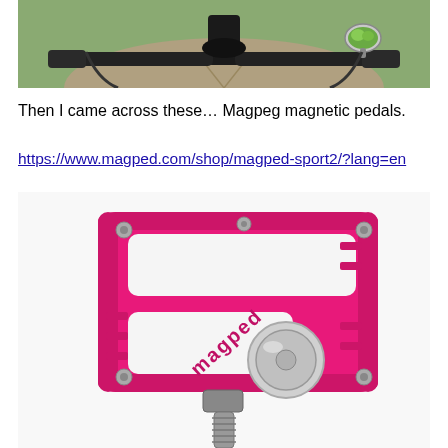[Figure (photo): View from bicycle handlebars looking down a dirt road, showing handlebars with grips and a small round mirror on the right side reflecting trees.]
Then I came across these… Magpeg magnetic pedals.
https://www.magped.com/shop/magped-sport2/?lang=en
[Figure (photo): A bright pink/magenta Magped magnetic bicycle pedal with silver screws and a large circular magnet on the underside, shown on a white background. The pedal has the 'magped' brand name engraved on it.]